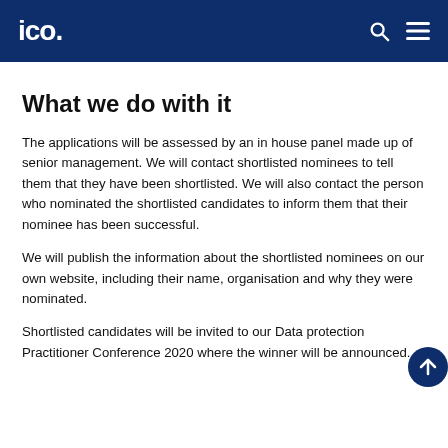ico.
What we do with it
The applications will be assessed by an in house panel made up of senior management. We will contact shortlisted nominees to tell them that they have been shortlisted. We will also contact the person who nominated the shortlisted candidates to inform them that their nominee has been successful.
We will publish the information about the shortlisted nominees on our own website, including their name, organisation and why they were nominated.
Shortlisted candidates will be invited to our Data protection Practitioner Conference 2020 where the winner will be announced.